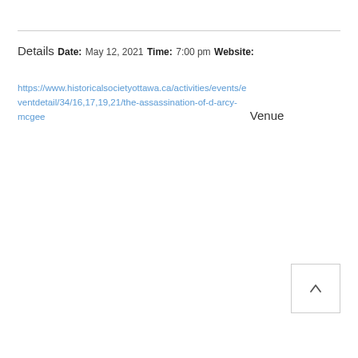Details
Date:
May 12, 2021
Time:
7:00 pm
Website:
https://www.historicalsocietyottawa.ca/activities/events/eventdetail/34/16,17,19,21/the-assassination-of-d-arcy-mcgee
Venue